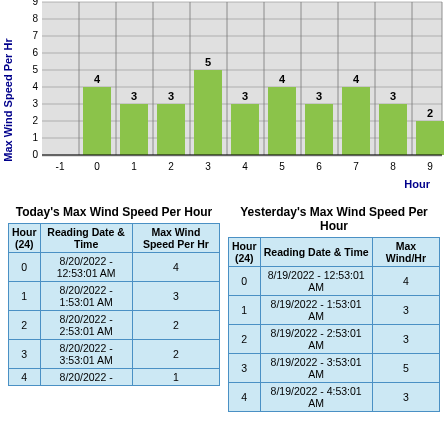[Figure (bar-chart): Max Wind Speed Per Hour]
| Hour (24) | Reading Date & Time | Max Wind Speed Per Hr |
| --- | --- | --- |
| 0 | 8/20/2022 - 12:53:01 AM | 4 |
| 1 | 8/20/2022 - 1:53:01 AM | 3 |
| 2 | 8/20/2022 - 2:53:01 AM | 2 |
| 3 | 8/20/2022 - 3:53:01 AM | 2 |
| 4 | 8/20/2022 - | 1 |
| Hour (24) | Reading Date & Time | Max Wind/Hr |
| --- | --- | --- |
| 0 | 8/19/2022 - 12:53:01 AM | 4 |
| 1 | 8/19/2022 - 1:53:01 AM | 3 |
| 2 | 8/19/2022 - 2:53:01 AM | 3 |
| 3 | 8/19/2022 - 3:53:01 AM | 5 |
| 4 | 8/19/2022 - 4:53:01 AM | 3 |